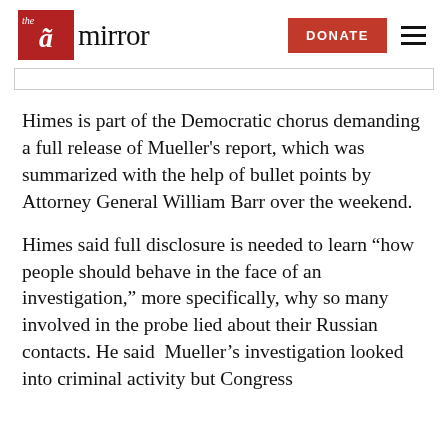the mirror — DONATE
Himes is part of the Democratic chorus demanding a full release of Mueller's report, which was summarized with the help of bullet points by Attorney General William Barr over the weekend.
Himes said full disclosure is needed to learn “how people should behave in the face of an investigation,” more specifically, why so many involved in the probe lied about their Russian contacts. He said  Mueller’s investigation looked into criminal activity but Congress